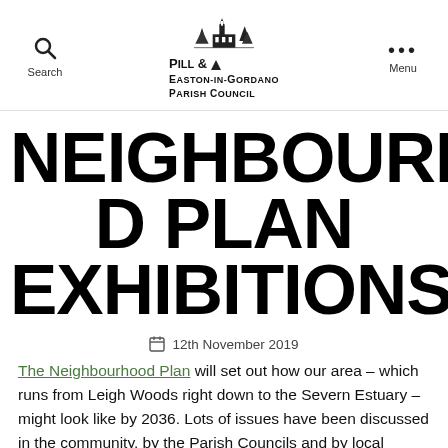Search | Pill & Easton-in-Gordano Parish Council | Menu
NEIGHBOURHOOD PLAN EXHIBITIONS
12th November 2019
The Neighbourhood Plan will set out how our area – which runs from Leigh Woods right down to the Severn Estuary – might look like by 2036. Lots of issues have been discussed in the community, by the Parish Councils and by local businesses…